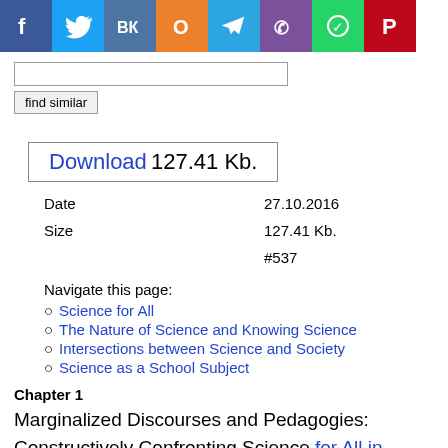[Figure (other): Social media share buttons row: Facebook, Twitter, VK, Odnoklassniki, Telegram, Viber, WhatsApp, Pinterest]
[search input field]
find similar
Download 127.41 Kb.
| Date | 27.10.2016 |
| Size | 127.41 Kb. |
|  | #537 |
Navigate this page:
Science for All
The Nature of Science and Knowing Science
Intersections between Science and Society
Science as a School Subject
Chapter 1
Marginalized Discourses and Pedagogies:
Constructively Confronting Science for All in Classroom Practice